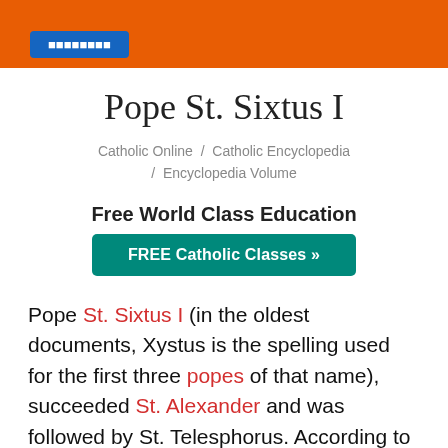[Figure (screenshot): Orange header bar with a blue button partially visible at top of page]
Pope St. Sixtus I
Catholic Online  /  Catholic Encyclopedia  /  Encyclopedia Volume
Free World Class Education
[Figure (other): Teal/green button labeled: FREE Catholic Classes »]
Pope St. Sixtus I (in the oldest documents, Xystus is the spelling used for the first three popes of that name), succeeded St. Alexander and was followed by St. Telesphorus. According to the "Liberian Catalogue" of popes, he ruled the Church during the